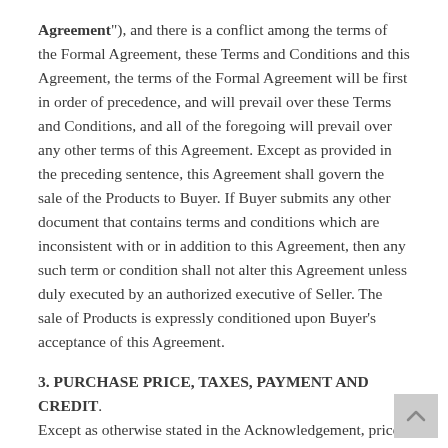Agreement"), and there is a conflict among the terms of the Formal Agreement, these Terms and Conditions and this Agreement, the terms of the Formal Agreement will be first in order of precedence, and will prevail over these Terms and Conditions, and all of the foregoing will prevail over any other terms of this Agreement. Except as provided in the preceding sentence, this Agreement shall govern the sale of the Products to Buyer. If Buyer submits any other document that contains terms and conditions which are inconsistent with or in addition to this Agreement, then any such term or condition shall not alter this Agreement unless duly executed by an authorized executive of Seller. The sale of Products is expressly conditioned upon Buyer’s acceptance of this Agreement.
3. PURCHASE PRICE, TAXES, PAYMENT AND CREDIT.
Except as otherwise stated in the Acknowledgement, prices are stated in United States of America (“U.S.”) dollars. The purchase price includes the costs of